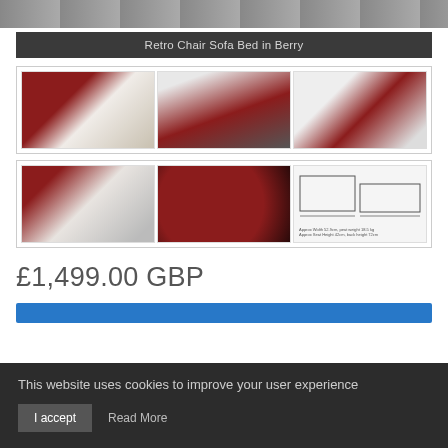[Figure (photo): Top cropped product image of a sofa/rug background]
Retro Chair Sofa Bed in Berry
[Figure (photo): Gallery row 1: three photos of the Retro Chair Sofa Bed in Berry — sofa open as bed, woman sitting on chair sofa, side view open as bed]
[Figure (photo): Gallery row 2: three photos — close up of sofa bed mechanism, close up of dark red upholstery, technical dimension diagram]
£1,499.00 GBP
This website uses cookies to improve your user experience
I accept
Read More